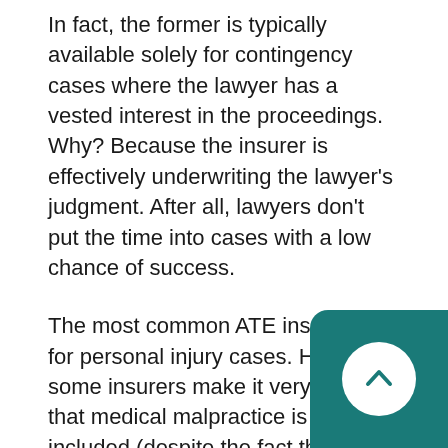In fact, the former is typically available solely for contingency cases where the lawyer has a vested interest in the proceedings. Why? Because the insurer is effectively underwriting the lawyer's judgment. After all, lawyers don't put the time into cases with a low chance of success.
The most common ATE insurance is for personal injury cases. However, some insurers make it very clear that medical malpractice is not included (despite the fact that some deem it as a form of personal injury). Experts suggest the reason for the exclusion is that the CMPA (Canadian Medical Practitioners Association) massively defends members as otherwise, it risks the reputation of the hospital and doctor.
Other civil litigation cases covered under after the event insurance include:
[Figure (other): Teal/dark-cyan rounded rectangle scroll-to-top button overlay in the bottom-right corner, containing a white circular button with an upward chevron arrow.]